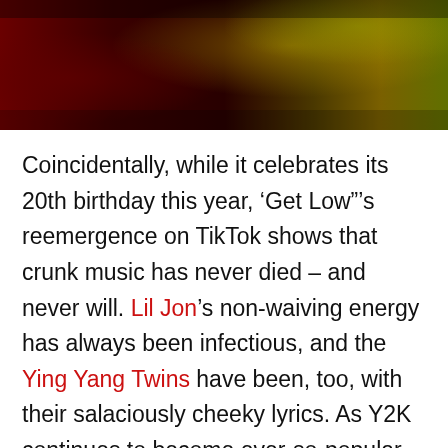[Figure (photo): Dark red and gold toned concert or music video still image, showing blurred figures with red and yellow/green colors]
Coincidentally, while it celebrates its 20th birthday this year, ‘Get Low”’s reemergence on TikTok shows that crunk music has never died – and never will. Lil Jon’s non-waiving energy has always been infectious, and the Ying Yang Twins have been, too, with their salaciously cheeky lyrics. As Y2K continues to become ever-so-popular again, party anthems like this will find their way back into the hearts of young fans as well.
Why it still slaps: The Ying Yang Twins always